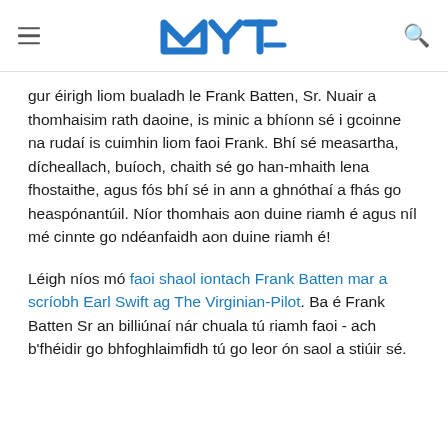MYT [logo] (hamburger menu, search icon)
gur éirigh liom bualadh le Frank Batten, Sr. Nuair a thomhaisim rath daoine, is minic a bhíonn sé i gcoinne na rudaí is cuimhin liom faoi Frank. Bhí sé measartha, dícheallach, buíoch, chaith sé go han-mhaith lena fhostaithe, agus fós bhí sé in ann a ghnóthaí a fhás go heaspónantúil. Níor thomhais aon duine riamh é agus níl mé cinnte go ndéanfaidh aon duine riamh é!
Léigh níos mó faoi shaol iontach Frank Batten mar a scríobh Earl Swift ag The Virginian-Pilot. Ba é Frank Batten Sr an billiúnaí nár chuala tú riamh faoi - ach b'fhéidir go bhfoghlaimfidh tú go leor ón saol a stiúir sé.